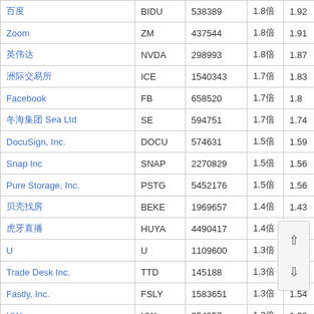| 名称 | 代码 | 成交量 | 占比 | 值 |
| --- | --- | --- | --- | --- |
| 百度 | BIDU | 538389 | 1.8倍 | 1.92 |
| Zoom | ZM | 437544 | 1.8倍 | 1.91 |
| 英伟达 | NVDA | 298993 | 1.8倍 | 1.87 |
| 洲际交易所 | ICE | 1540343 | 1.7倍 | 1.83 |
| Facebook | FB | 658520 | 1.7倍 | 1.8 |
| 冬海集团 Sea Ltd | SE | 594751 | 1.7倍 | 1.74 |
| DocuSign, Inc. | DOCU | 574631 | 1.5倍 | 1.59 |
| Snap Inc | SNAP | 2270829 | 1.5倍 | 1.56 |
| Pure Storage, Inc. | PSTG | 5452176 | 1.5倍 | 1.56 |
| 贝壳找房 | BEKE | 1969657 | 1.4倍 | 1.43 |
| 虎牙直播 | HUYA | 4490417 | 1.4倍 | 1.42 |
| U | U | 1109600 | 1.3倍 | 1. |
| Trade Desk Inc. | TTD | 145188 | 1.3倍 | 1.37 |
| Fastly, Inc. | FSLY | 1583651 | 1.3倍 | 1.54 |
| UW | UW | 354957 | 1.2倍 | 1.28 |
| Veracyte, Inc. | VCYT | 1645791 | 1.2倍 | 1.26 |